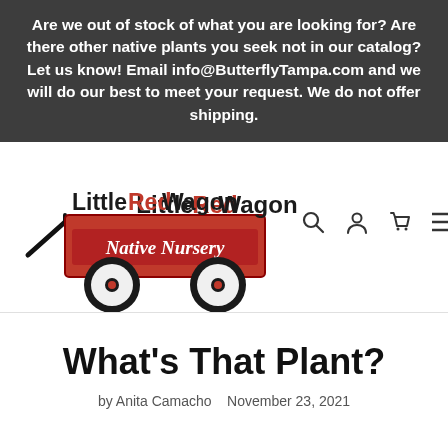Are we out of stock of what you are looking for? Are there other native plants you seek not in our catalog? Let us know! Email info@ButterflyTampa.com and we will do our best to meet your request. We do not offer shipping.
[Figure (logo): Little Red Wagon Native Nursery logo featuring a red wagon with black wheels and red wheel hubs, with the text 'Little Red Wagon' and 'Native Nursery' on the wagon body. Navigation icons for search, account, cart, and menu appear to the right.]
What's That Plant?
by Anita Camacho   November 23, 2021